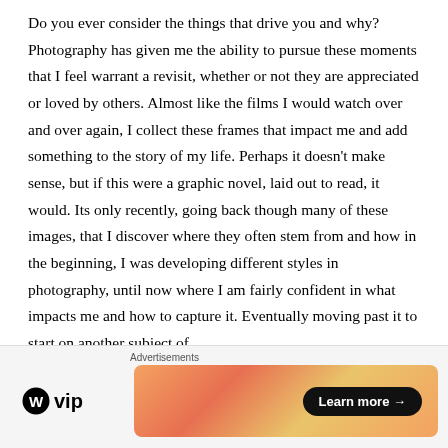Do you ever consider the things that drive you and why? Photography has given me the ability to pursue these moments that I feel warrant a revisit, whether or not they are appreciated or loved by others. Almost like the films I would watch over and over again, I collect these frames that impact me and add something to the story of my life. Perhaps it doesn't make sense, but if this were a graphic novel, laid out to read, it would. Its only recently, going back though many of these images, that I discover where they often stem from and how in the beginning, I was developing different styles in photography, until now where I am fairly confident in what impacts me and how to capture it. Eventually moving past it to start on another subject of
Advertisements | WordPress VIP | Learn more →